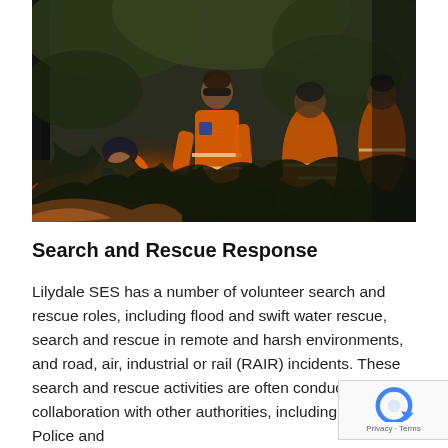[Figure (photo): SES volunteers in orange high-visibility uniforms conducting a search and rescue operation in a dense forest environment. Several people are crouched and working together among trees and undergrowth.]
Search and Rescue Response
Lilydale SES has a number of volunteer search and rescue roles, including flood and swift water rescue, search and rescue in remote and harsh environments, and road, air, industrial or rail (RAIR) incidents. These search and rescue activities are often conducted in collaboration with other authorities, including Victoria Police and